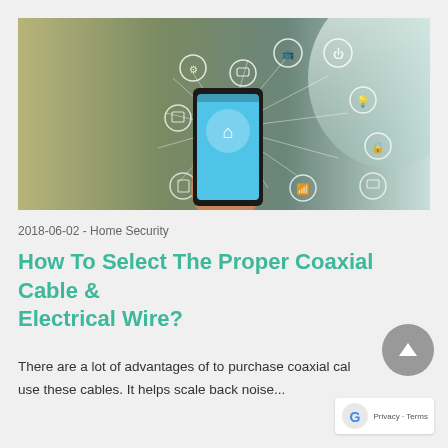[Figure (photo): Hand holding a smartphone displaying a smart home interface, surrounded by connected home device icons (power, TV, lightbulb, wifi, lock, etc.) on a blurred indoor background.]
2018-06-02 - Home Security
How To Select The Proper Coaxial Cable & Electrical Wire?
There are a lot of advantages of to purchase coaxial cal use these cables. It helps scale back noise...